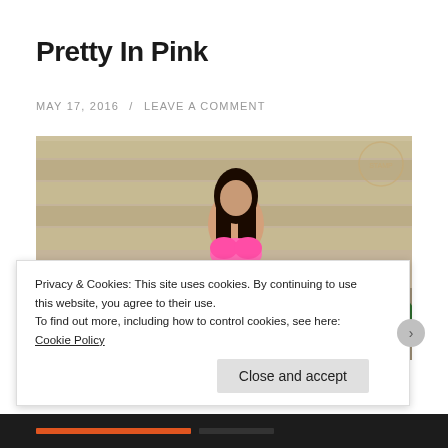Pretty In Pink
MAY 17, 2016 / LEAVE A COMMENT
[Figure (photo): Woman with long dark hair wearing a pink bikini top, posing outdoors in front of wooden wall with green plants and orange flowers in the background.]
Privacy & Cookies: This site uses cookies. By continuing to use this website, you agree to their use.
To find out more, including how to control cookies, see here: Cookie Policy
Close and accept